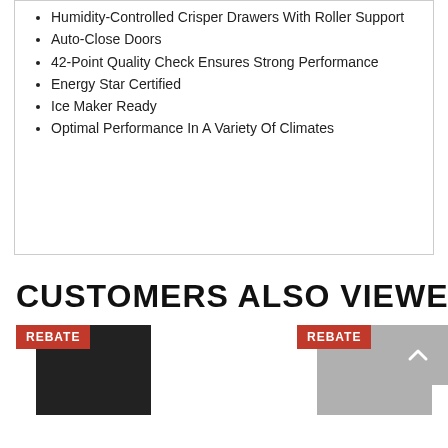Humidity-Controlled Crisper Drawers With Roller Support
Auto-Close Doors
42-Point Quality Check Ensures Strong Performance
Energy Star Certified
Ice Maker Ready
Optimal Performance In A Variety Of Climates
CUSTOMERS ALSO VIEWED
[Figure (photo): Product image with REBATE badge - black refrigerator]
[Figure (photo): Product image with REBATE badge - silver refrigerator]